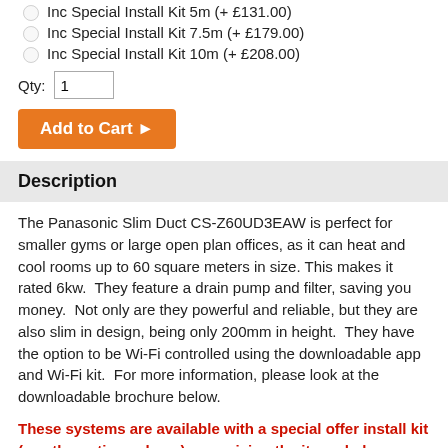Inc Special Install Kit 5m (+ £131.00)
Inc Special Install Kit 7.5m (+ £179.00)
Inc Special Install Kit 10m (+ £208.00)
Qty: 1
Add to Cart ▶
Description
The Panasonic Slim Duct CS-Z60UD3EAW is perfect for smaller gyms or large open plan offices, as it can heat and cool rooms up to 60 square meters in size. This makes it rated 6kw. They feature a drain pump and filter, saving you money. Not only are they powerful and reliable, but they are also slim in design, being only 200mm in height. They have the option to be Wi-Fi controlled using the downloadable app and Wi-Fi kit. For more information, please look at the downloadable brochure below.
These systems are available with a special offer install kit (see the options above) comprising the items below. Alternatively click this link to see our range of full fitting kits.
Flared and insulated copper pipes
Interconnect cable same as flared copper pipes length
2.5 metres condensate drain
Pipe clips and cable ties
Outdoor unit wall bracket or floor blocks (Let us know which you